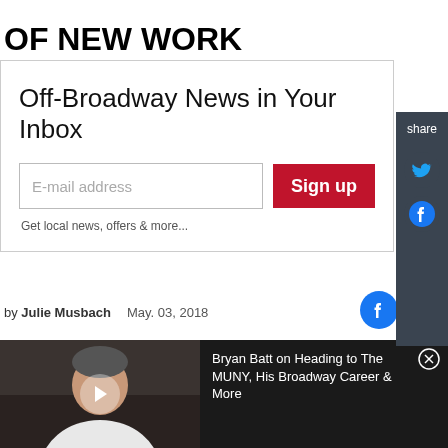OF NEW WORK
Off-Broadway News in Your Inbox
E-mail address
Sign up
Get local news, offers & more...
share
by Julie Musbach   May. 03, 2018
[Figure (screenshot): Video thumbnail showing a man in a white shirt with a play button overlay, next to video title text: Bryan Batt on Heading to The MUNY, His Broadway Career & More]